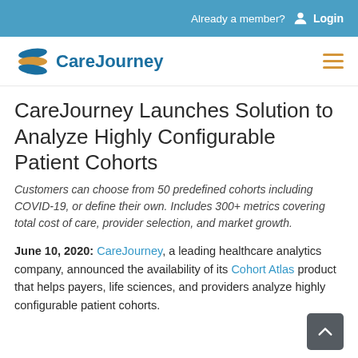Already a member?  Login
[Figure (logo): CareJourney logo with stacked layers icon in blue and gold, and navigation hamburger menu icon in gold]
CareJourney Launches Solution to Analyze Highly Configurable Patient Cohorts
Customers can choose from 50 predefined cohorts including COVID-19, or define their own. Includes 300+ metrics covering total cost of care, provider selection, and market growth.
June 10, 2020: CareJourney, a leading healthcare analytics company, announced the availability of its Cohort Atlas product that helps payers, life sciences, and providers analyze highly configurable patient cohorts.